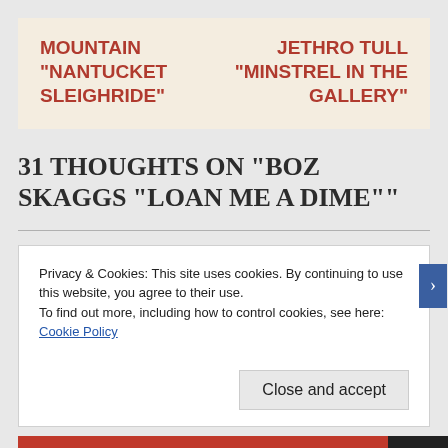[Figure (other): Navigation box with two album references side by side on a tan/beige background. Left: MOUNTAIN "NANTUCKET SLEIGHRIDE". Right: JETHRO TULL "MINSTREL IN THE GALLERY"]
31 THOUGHTS ON "BOZ SKAGGS "LOAN ME A DIME""
Privacy & Cookies: This site uses cookies. By continuing to use this website, you agree to their use. To find out more, including how to control cookies, see here: Cookie Policy